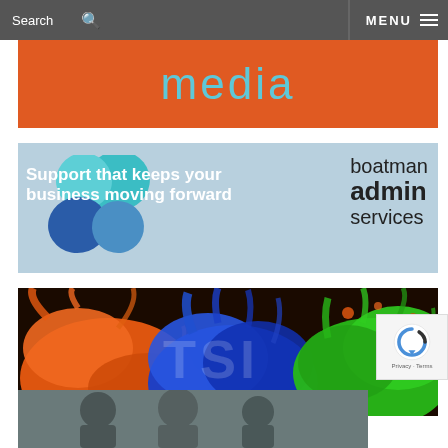Search  MENU
media
[Figure (logo): Boatman Admin Services logo overlaid with text: Support that keeps your business moving forward]
[Figure (photo): Colorful paint splashes in orange, blue, and green with TSI text watermark overlay]
[Figure (photo): Bottom strip showing people, partially visible]